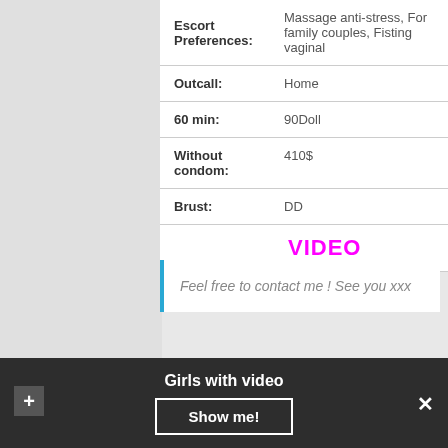| Field | Value |
| --- | --- |
| Escort Preferences: | Massage anti-stress, For family couples, Fisting vaginal |
| Outcall: | Home |
| 60 min: | 90Doll |
| Without condom: | 410$ |
| Brust: | DD |
|  | VIDEO |
Feel free to contact me ! See you xxx
Girls with video   Show me!